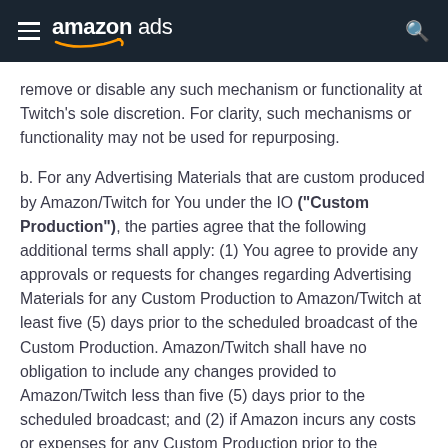amazon ads
remove or disable any such mechanism or functionality at Twitch's sole discretion. For clarity, such mechanisms or functionality may not be used for repurposing.
b. For any Advertising Materials that are custom produced by Amazon/Twitch for You under the IO ("Custom Production"), the parties agree that the following additional terms shall apply: (1) You agree to provide any approvals or requests for changes regarding Advertising Materials for any Custom Production to Amazon/Twitch at least five (5) days prior to the scheduled broadcast of the Custom Production. Amazon/Twitch shall have no obligation to include any changes provided to Amazon/Twitch less than five (5) days prior to the scheduled broadcast; and (2) if Amazon incurs any costs or expenses for any Custom Production prior to the